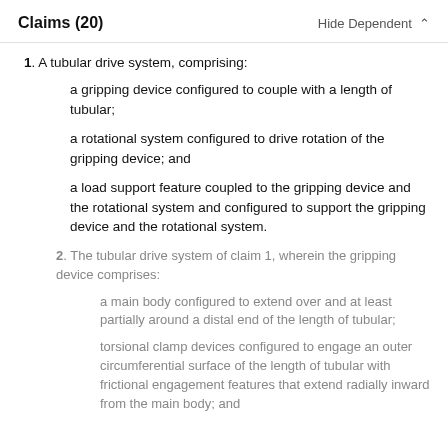Claims (20)    Hide Dependent ^
1. A tubular drive system, comprising:
a gripping device configured to couple with a length of tubular;
a rotational system configured to drive rotation of the gripping device; and
a load support feature coupled to the gripping device and the rotational system and configured to support the gripping device and the rotational system.
2. The tubular drive system of claim 1, wherein the gripping device comprises:
a main body configured to extend over and at least partially around a distal end of the length of tubular;
torsional clamp devices configured to engage an outer circumferential surface of the length of tubular with frictional engagement features that extend radially inward from the main body; and